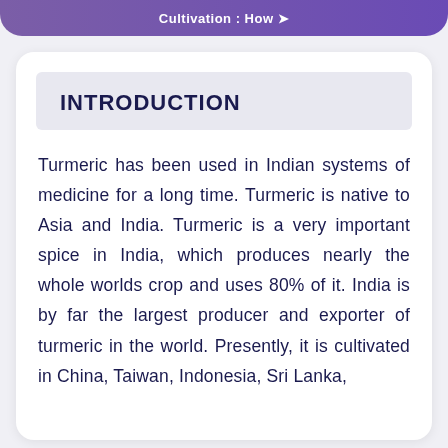Cultivation : How
INTRODUCTION
Turmeric has been used in Indian systems of medicine for a long time. Turmeric is native to Asia and India. Turmeric is a very important spice in India, which produces nearly the whole worlds crop and uses 80% of it. India is by far the largest producer and exporter of turmeric in the world. Presently, it is cultivated in China, Taiwan, Indonesia, Sri Lanka,